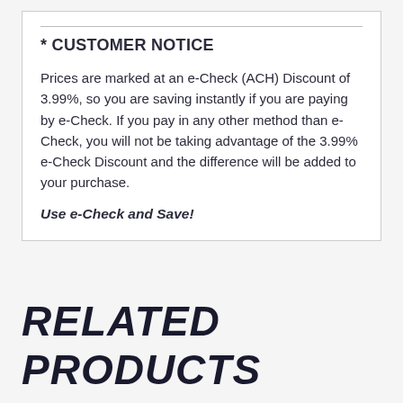* CUSTOMER NOTICE
Prices are marked at an e-Check (ACH) Discount of 3.99%, so you are saving instantly if you are paying by e-Check. If you pay in any other method than e-Check, you will not be taking advantage of the 3.99% e-Check Discount and the difference will be added to your purchase.
Use e-Check and Save!
RELATED PRODUCTS